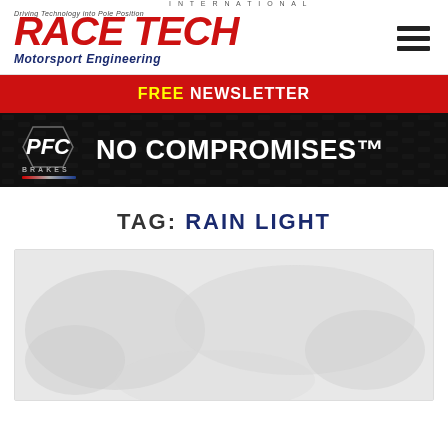RACE TECH International — Motorsport Engineering
FREE NEWSLETTER
[Figure (illustration): PFC Brakes advertisement banner with logo and slogan NO COMPROMISES™ on black background with tire tread texture]
TAG: RAIN LIGHT
[Figure (photo): Article thumbnail image placeholder showing a faded/greyed out photo]